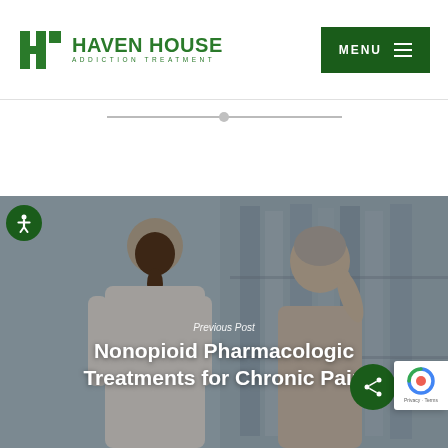[Figure (logo): Haven House Addiction Treatment logo with green H icon and text]
[Figure (screenshot): Navigation header with green MENU button and hamburger icon]
[Figure (photo): Healthcare scene showing a woman touching her neck/shoulder area while a healthcare provider faces her, with bookshelves in background. Text overlay reads 'Previous Post' and 'Nonopioid Pharmacologic Treatments for Chronic Pain']
Previous Post
Nonopioid Pharmacologic Treatments for Chronic Pain